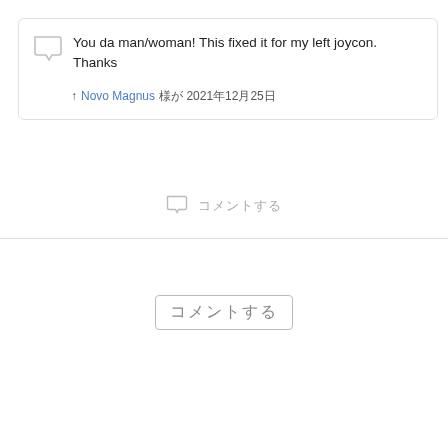You da man/woman! This fixed it for my left joycon. Thanks
↑ Novo Magnus 様が 2021年12月25日
コメントする
コメントする